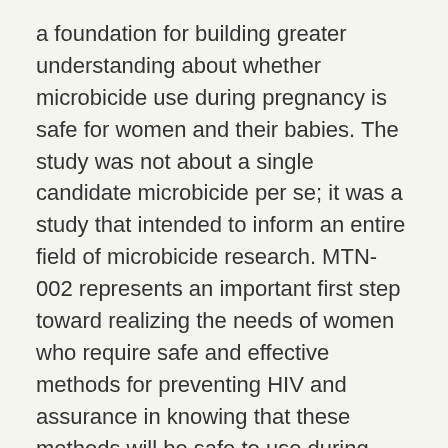a foundation for building greater understanding about whether microbicide use during pregnancy is safe for women and their babies. The study was not about a single candidate microbicide per se; it was a study that intended to inform an entire field of microbicide research. MTN-002 represents an important first step toward realizing the needs of women who require safe and effective methods for preventing HIV and assurance in knowing that these methods will be safe to use during pregnancy as well. A recent Institute of Medicine report on the methodological challenges in HIV prevention trials included among its key recommendations the need to evaluate the potential effects products may have on pregnant women and their fetuses. MTN-002 has provided a framework for ongoing study in this important area.
Between 70 and 90 percent of all HIV infections in